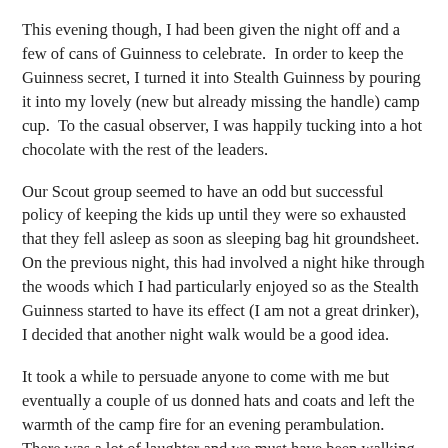This evening though, I had been given the night off and a few of cans of Guinness to celebrate.  In order to keep the Guinness secret, I turned it into Stealth Guinness by pouring it into my lovely (new but already missing the handle) camp cup.  To the casual observer, I was happily tucking into a hot chocolate with the rest of the leaders.
Our Scout group seemed to have an odd but successful policy of keeping the kids up until they were so exhausted that they fell asleep as soon as sleeping bag hit groundsheet.  On the previous night, this had involved a night hike through the woods which I had particularly enjoyed so as the Stealth Guinness started to have its effect (I am not a great drinker), I decided that another night walk would be a good idea.
It took a while to persuade anyone to come with me but eventually a couple of us donned hats and coats and left the warmth of the camp fire for an evening perambulation.  There was a lot of laughter and we must have been walking quite quickly because I can remember getting too hot and bumping into a few trees ... but that is all I can remember.
The next morning, I woke up at porridge making time, safe in